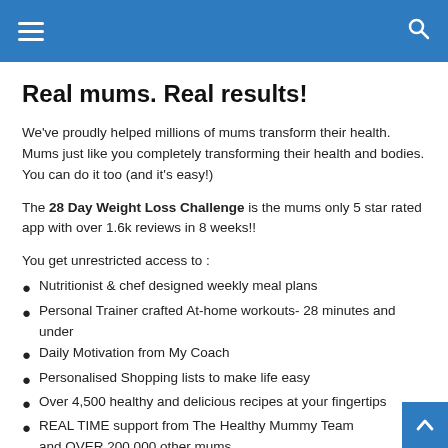Navigation header with hamburger menu and search icon
Real mums. Real results!
We've proudly helped millions of mums transform their health. Mums just like you completely transforming their health and bodies. You can do it too (and it's easy!)
The 28 Day Weight Loss Challenge is the mums only 5 star rated app with over 1.6k reviews in 8 weeks!!
You get unrestricted access to :
Nutritionist & chef designed weekly meal plans
Personal Trainer crafted At-home workouts- 28 minutes and under
Daily Motivation from My Coach
Personalised Shopping lists to make life easy
Over 4,500 healthy and delicious recipes at your fingertips
REAL TIME support from The Healthy Mummy Team and OVER 200,000 other mums